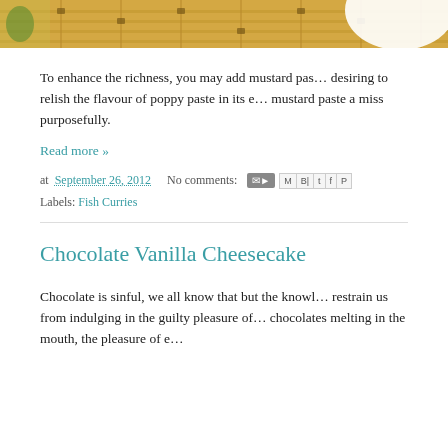[Figure (photo): Banner image showing a bamboo mat with a white bowl, decorative elements visible at top of page]
To enhance the richness, you may add mustard paste desiring to relish the flavour of poppy paste in its e... mustard paste a miss purposefully.
Read more »
at September 26, 2012   No comments:
Labels: Fish Curries
Chocolate Vanilla Cheesecake
Chocolate is sinful, we all know that but the knowl... restrain us from indulging in the guilty pleasure of... chocolates melting in the mouth, the pleasure of e...